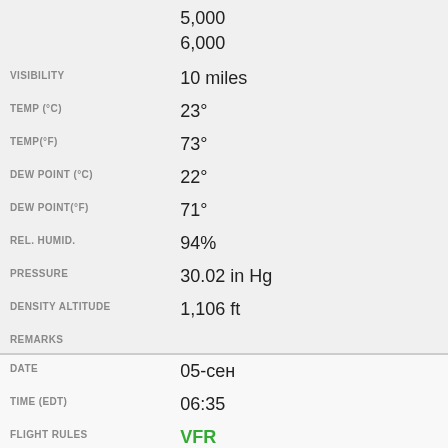| Field | Value |
| --- | --- |
| [HEIGHT AGL (FT) continued] | 5,000
6,000 |
| VISIBILITY | 10 miles |
| TEMP (°C) | 23° |
| TEMP(°F) | 73° |
| DEW POINT (°C) | 22° |
| DEW POINT(°F) | 71° |
| REL. HUMID. | 94% |
| PRESSURE | 30.02 in Hg |
| DENSITY ALTITUDE | 1,106 ft |
| REMARKS |  |
| DATE | 05-сен |
| TIME (EDT) | 06:35 |
| FLIGHT RULES | VFR |
| WIND DIR. | Calm |
| SPEED |  |
| TYPE | Few
Broken
Overcast |
| HEIGHT AGL (FT) | 2,400 ↑
5,000
5,500 |
| VISIBILITY | 10 miles |